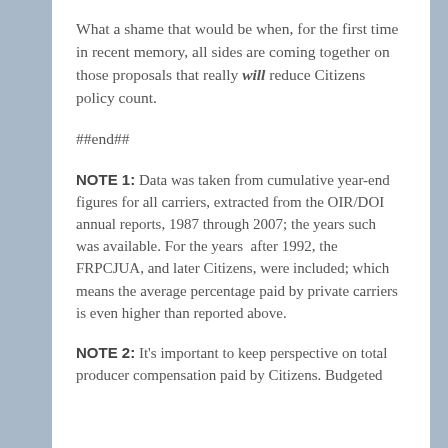What a shame that would be when, for the first time in recent memory, all sides are coming together on those proposals that really will reduce Citizens policy count.
##end##
NOTE 1: Data was taken from cumulative year-end figures for all carriers, extracted from the OIR/DOI annual reports, 1987 through 2007; the years such was available. For the years after 1992, the FRPCJUA, and later Citizens, were included; which means the average percentage paid by private carriers is even higher than reported above.
NOTE 2: It's important to keep perspective on total producer compensation paid by Citizens. Budgeted